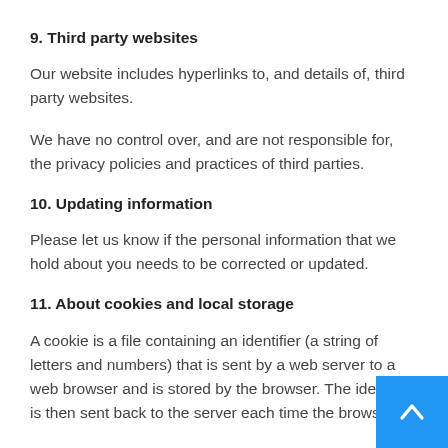9. Third party websites
Our website includes hyperlinks to, and details of, third party websites.
We have no control over, and are not responsible for, the privacy policies and practices of third parties.
10. Updating information
Please let us know if the personal information that we hold about you needs to be corrected or updated.
11. About cookies and local storage
A cookie is a file containing an identifier (a string of letters and numbers) that is sent by a web server to a web browser and is stored by the browser. The identifier is then sent back to the server each time the browser